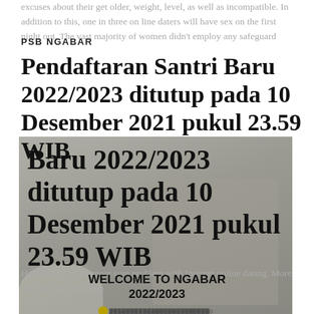excuses about their get older, weight, level, as well as incompatible. In addition to this, one in three on line daters will have sex on the first night out. The vast majority of women didn't employ any safeguard
PSB NGABAR
Pendaftaran Santri Baru 2022/2023 ditutup pada 10 Desember 2021 pukul 23.59 WIB
[Figure (photo): A photo of a couple at what appears to be a wedding or formal event, with floral decorations. The title text is overlaid on top of the image.]
WELCOME TO NGABAR 2022/2023
However, it's a lot more sure problem with Internet online dating. More than half of folks that